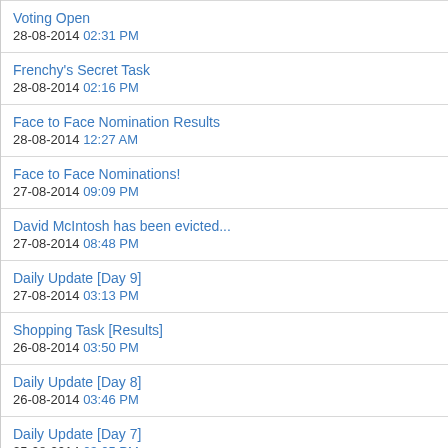Voting Open
28-08-2014 02:31 PM
Frenchy's Secret Task
28-08-2014 02:16 PM
Face to Face Nomination Results
28-08-2014 12:27 AM
Face to Face Nominations!
27-08-2014 09:09 PM
David McIntosh has been evicted...
27-08-2014 08:48 PM
Daily Update [Day 9]
27-08-2014 03:13 PM
Shopping Task [Results]
26-08-2014 03:50 PM
Daily Update [Day 8]
26-08-2014 03:46 PM
Daily Update [Day 7]
25-08-2014 03:05 PM
Phobias [Shopping Task]
25-08-2014 01:43 PM
More Or Less A Celebrity Results
24-08-2014 10:53 PM